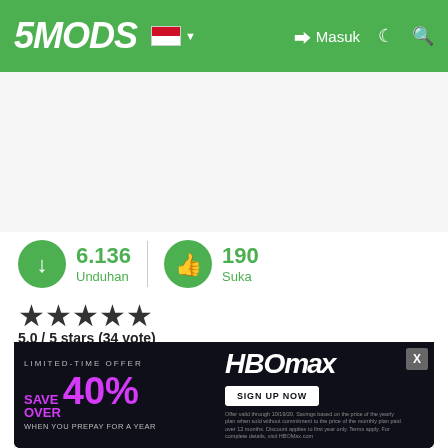5MODS — Masuk
[Figure (screenshot): White blank/advertisement space area]
6.136 Unduhan   190 Suka
[Figure (other): 5 gold stars rating]
5.0 / 5 stars (34 vote)
"The Karin Everon is the latest line of super-reliable trucks from Karin, dating all the way back to the Rebel. This truck can be used for anything, from scaling a volcano, to reaching the magnetic north-pole and obviously stage a coup or for insurgencies, but we don't talk about that. " -Southern S... Andrea...
[Figure (other): HBO Max advertisement overlay: LIMITED-TIME OFFER SAVE OVER 40% WHEN YOU PREPAY FOR A YEAR, HBO max SIGN UP NOW]